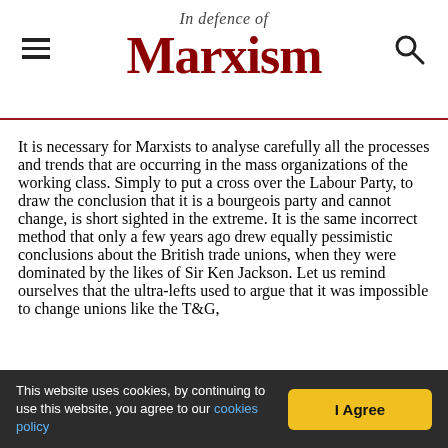In defence of Marxism
It is necessary for Marxists to analyse carefully all the processes and trends that are occurring in the mass organizations of the working class. Simply to put a cross over the Labour Party, to draw the conclusion that it is a bourgeois party and cannot change, is short sighted in the extreme. It is the same incorrect method that only a few years ago drew equally pessimistic conclusions about the British trade unions, when they were dominated by the likes of Sir Ken Jackson. Let us remind ourselves that the ultra-lefts used to argue that it was impossible to change unions like the T&G,
This website uses cookies, by continuing to use this website, you agree to our cookies policy | I Agree